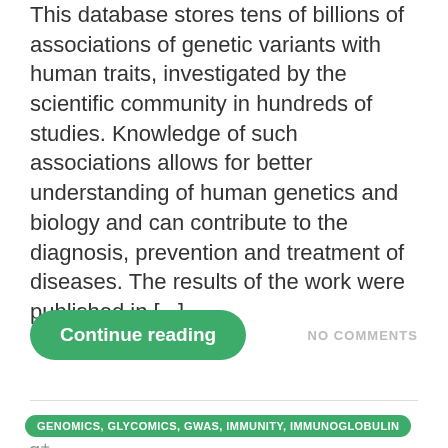This database stores tens of billions of associations of genetic variants with human traits, investigated by the scientific community in hundreds of studies. Knowledge of such associations allows for better understanding of human genetics and biology and can contribute to the diagnosis, prevention and treatment of diseases. The results of the work were published in [...]
Continue reading
NO COMMENTS
GENOMICS, GLYCOMICS, GWAS, IMMUNITY, IMMUNOGLOBULIN G